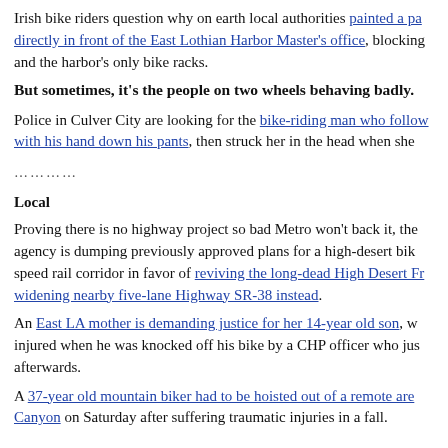Irish bike riders question why on earth local authorities painted a pa... directly in front of the East Lothian Harbor Master's office, blocking and the harbor's only bike racks.
But sometimes, it's the people on two wheels behaving badly.
Police in Culver City are looking for the bike-riding man who follow... with his hand down his pants, then struck her in the head when she...
..........
Local
Proving there is no highway project so bad Metro won't back it, the agency is dumping previously approved plans for a high-desert bik... speed rail corridor in favor of reviving the long-dead High Desert Fr... widening nearby five-lane Highway SR-38 instead.
An East LA mother is demanding justice for her 14-year old son, w... injured when he was knocked off his bike by a CHP officer who jus... afterwards.
A 37-year old mountain biker had to be hoisted out of a remote are... Canyon on Saturday after suffering traumatic injuries in a fall.